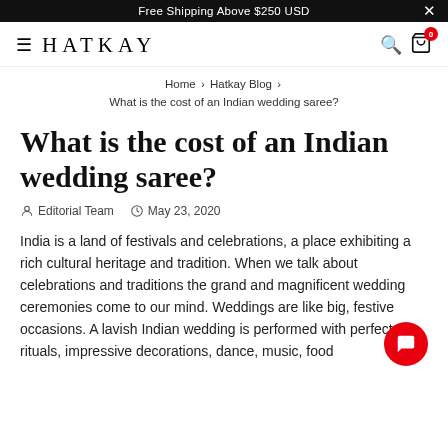Free Shipping Above $250 USD
HATKAY
Home › Hatkay Blog › What is the cost of an Indian wedding saree?
What is the cost of an Indian wedding saree?
Editorial Team   May 23, 2020
India is a land of festivals and celebrations, a place exhibiting a rich cultural heritage and tradition. When we talk about celebrations and traditions the grand and magnificent wedding ceremonies come to our mind. Weddings are like big, festive occasions. A lavish Indian wedding is performed with perfect rituals, impressive decorations, dance, music, food